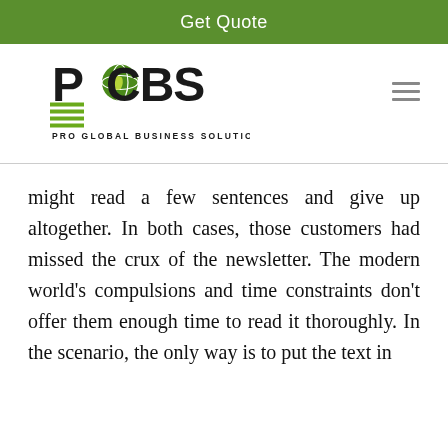Get Quote
[Figure (logo): PCBS Pro Global Business Solutions logo with green globe icon and horizontal lines]
might read a few sentences and give up altogether. In both cases, those customers had missed the crux of the newsletter. The modern world’s compulsions and time constraints don’t offer them enough time to read it thoroughly. In the scenario, the only way is to put the text in